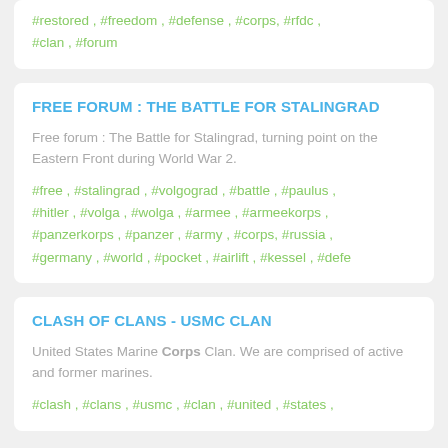#restored , #freedom , #defense , #corps, #rfdc , #clan , #forum
FREE FORUM : THE BATTLE FOR STALINGRAD
Free forum : The Battle for Stalingrad, turning point on the Eastern Front during World War 2.
#free , #stalingrad , #volgograd , #battle , #paulus , #hitler , #volga , #wolga , #armee , #armeekorps , #panzerkorps , #panzer , #army , #corps, #russia , #germany , #world , #pocket , #airlift , #kessel , #defe
CLASH OF CLANS - USMC CLAN
United States Marine Corps Clan. We are comprised of active and former marines.
#clash , #clans , #usmc , #clan , #united , #states